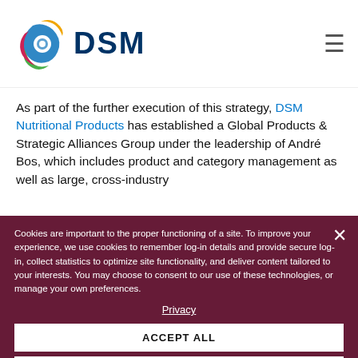[Figure (logo): DSM company logo with colorful swirl icon and DSM text in dark blue]
As part of the further execution of this strategy, DSM Nutritional Products has established a Global Products & Strategic Alliances Group under the leadership of André Bos, which includes product and category management as well as large, cross-industry partnerships. During 2015, under the leadership of Hans-Christian Ambjerg, the Innovation efforts were further focused on a core portfolio of platforms. Following a successful period of interim management by André Bos, the Human Nutrition & Health business will be led by (to be announced), who recently joined from DSM BV. DSM has also further... Nutrition & Health... Animal Nutrition & Healt...
Cookies are important to the proper functioning of a site. To improve your experience, we use cookies to remember log-in details and provide secure log-in, collect statistics to optimize site functionality, and deliver content tailored to your interests. You may choose to consent to our use of these technologies, or manage your own preferences.
Privacy
ACCEPT ALL
DECLINE ALL
MANAGE SETTINGS